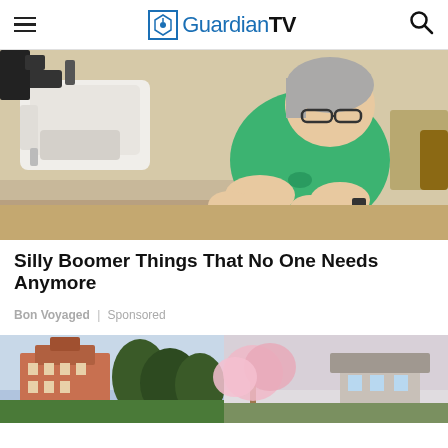GuardianTV
[Figure (photo): Elderly woman in green t-shirt sewing at a sewing machine, looking down at fabric]
Silly Boomer Things That No One Needs Anymore
Bon Voyaged | Sponsored
[Figure (photo): Two outdoor scenic photos side by side: a large building surrounded by trees on the left, and a house with blooming trees on the right]